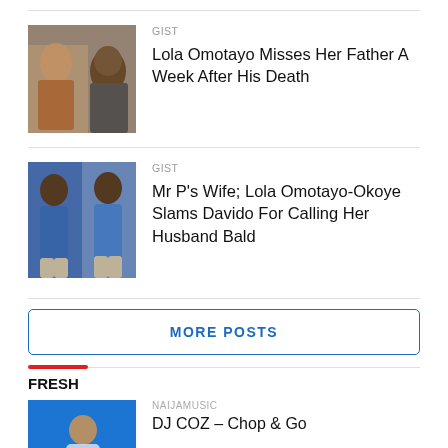[Figure (photo): Thumbnail photo of Lola Omotayo and her father]
GIST
Lola Omotayo Misses Her Father A Week After His Death
[Figure (photo): Thumbnail photo of Mr P (Peter Okoye) in blue shirt, two poses]
GIST
Mr P's Wife; Lola Omotayo-Okoye Slams Davido For Calling Her Husband Bald
MORE POSTS
FRESH
[Figure (photo): Blue album art thumbnail for DJ COZ Chop & Go]
NAIJAMUSIC
DJ COZ – Chop & Go